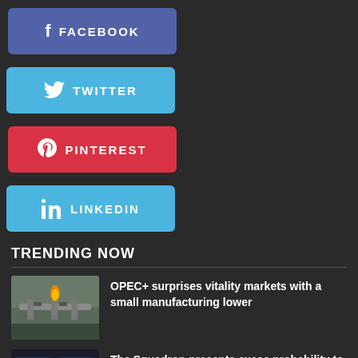[Figure (other): Facebook social share button (blue/purple)]
[Figure (other): Twitter social share button (light blue)]
[Figure (other): Pinterest social share button (red)]
[Figure (other): LinkedIn social share button (light blue)]
TRENDING NOW
[Figure (photo): Oil pipeline with flare flame — industrial facility photo]
OPEC+ surprises vitality markets with a small manufacturing lower
[Figure (photo): F-35 flight simulator cockpit with pilot — military simulator photo]
The Squadron presents execs probability to attempt F-35 flight simulator
SITE MAP